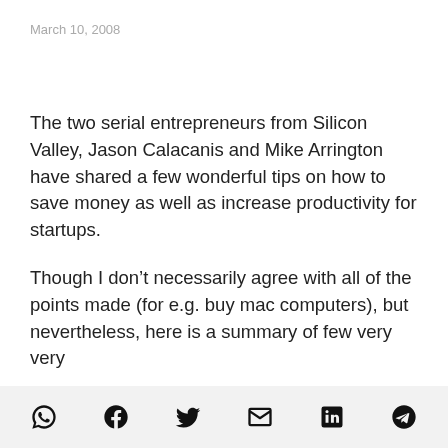March 10, 2008
The two serial entrepreneurs from Silicon Valley, Jason Calacanis and Mike Arrington have shared a few wonderful tips on how to save money as well as increase productivity for startups.
Though I don’t necessarily agree with all of the points made (for e.g. buy mac computers), but nevertheless, here is a summary of few very very
[Figure (infographic): Social media share icons row at bottom: WhatsApp, Facebook, Twitter, Email, LinkedIn, Telegram]